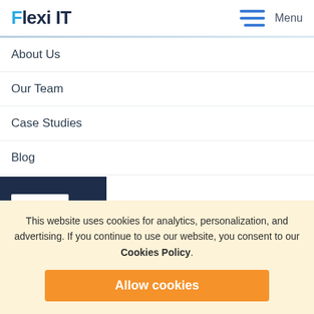Flexi IT — Menu
About Us
Our Team
Case Studies
Blog
VICES
Full-Stack Web Development
This website uses cookies for analytics, personalization, and advertising. If you continue to use our website, you consent to our Cookies Policy.
Allow cookies